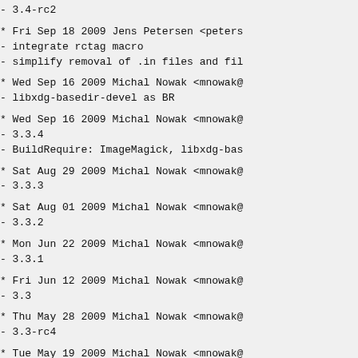- 3.4-rc2
* Fri Sep 18 2009 Jens Petersen <peters
- integrate rctag macro
- simplify removal of .in files and fil
* Wed Sep 16 2009 Michal Nowak <mnowak@
- libxdg-basedir-devel as BR
* Wed Sep 16 2009 Michal Nowak <mnowak@
- 3.3.4
- BuildRequire: ImageMagick, libxdg-bas
* Sat Aug 29 2009 Michal Nowak <mnowak@
- 3.3.3
* Sat Aug 01 2009 Michal Nowak <mnowak@
- 3.3.2
* Mon Jun 22 2009 Michal Nowak <mnowak@
- 3.3.1
* Fri Jun 12 2009 Michal Nowak <mnowak@
- 3.3
* Thu May 28 2009 Michal Nowak <mnowak@
- 3.3-rc4
* Tue May 19 2009 Michal Nowak <mnowak@
- 3.3-rc3